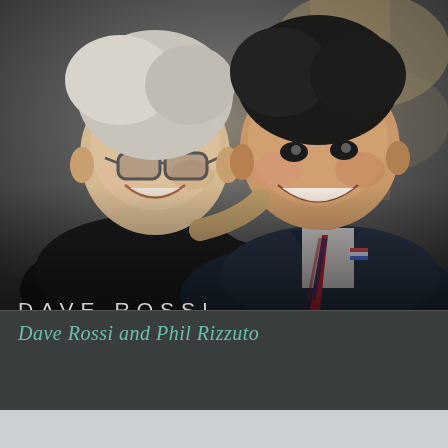[Figure (photo): Two men posing together for a photo. Man on the left has gray/white hair, glasses, wearing a black shirt. Man on the right is wearing a navy blue suit with a red and blue striped tie and an American flag pin.]
DAVE ROSSI
Read the Full Post »
Dave Rossi and Phil Rizzuto
May 20, 2005
Leave a Comment